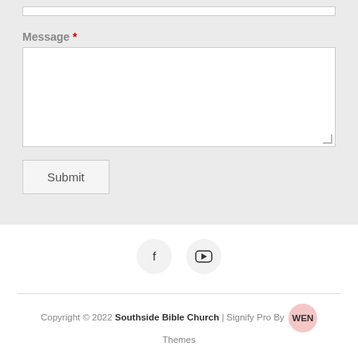Message *
[Figure (screenshot): Empty message textarea input box with resize handle]
Submit
[Figure (infographic): Two circular social media icons: Facebook (f) and YouTube]
Copyright © 2022 Southside Bible Church | Signify Pro By WEN Themes